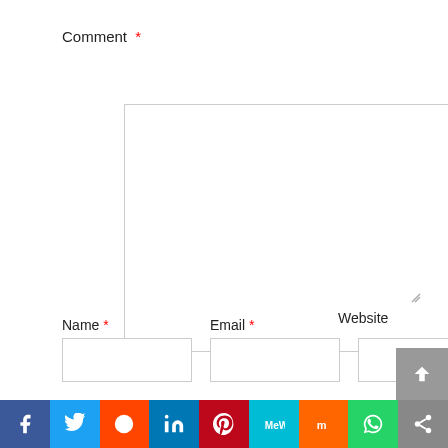Comment *
[Figure (screenshot): Comment textarea input field, empty, with resize handle in bottom-right corner]
Name *
Email *
Website
[Figure (screenshot): Three input fields: Name (required), Email (required), Website]
Save my name, email, and website in this
[Figure (infographic): Social sharing bar with icons: Facebook (blue), Twitter (light blue), Reddit (orange-red), LinkedIn (blue), Pinterest (dark red), MeWe (teal), Mix (orange), WhatsApp (green), Share (gray)]